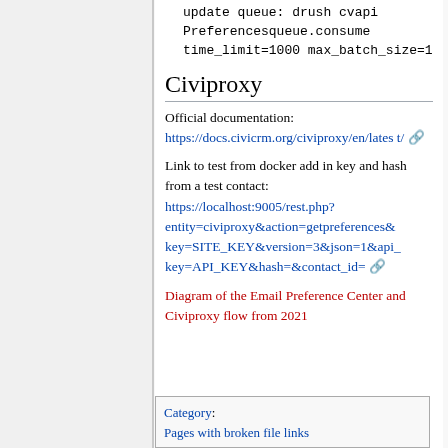update queue: drush cvapi Preferencesqueue.consume time_limit=1000 max_batch_size=1
Civiproxy
Official documentation: https://docs.civicrm.org/civiproxy/en/latest/
Link to test from docker add in key and hash from a test contact: https://localhost:9005/rest.php?entity=civiproxy&action=getpreferences&key=SITE_KEY&version=3&json=1&api_key=API_KEY&hash=&contact_id=
Diagram of the Email Preference Center and Civiproxy flow from 2021
| Category |
| --- |
| Pages with broken file links |